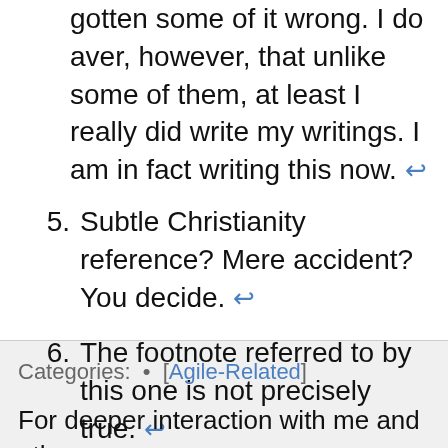Like the early Disciples, I'm sure I've gotten some of it wrong. I do aver, however, that unlike some of them, at least I really did write my writings. I am in fact writing this now. ↩
5. Subtle Christianity reference? Mere accident? You decide. ↩
6. The footnote referred to by this one is not precisely true. ↩
Categories: • [Agile-Related]
For deeper interaction with me and other people who are interested in these ideas